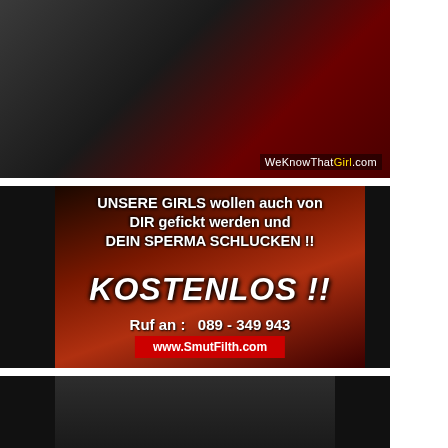[Figure (screenshot): Dark video thumbnail showing a laptop and red background, with 'WeKnowThatGirl.com' watermark in bottom right corner]
[Figure (screenshot): Advertisement screenshot with German text: 'UNSERE GIRLS wollen auch von DIR gefickt werden und DEIN SPERMA SCHLUCKEN !!' in bold white, 'KOSTENLOS !!' in large italic white, 'Ruf an: 089 - 349 943', and URL 'www.SmutFilth.com' on red banner. Background shows nightclub scene.]
[Figure (screenshot): Bottom portion of a video thumbnail showing a dark indoor scene with people, cropped.]